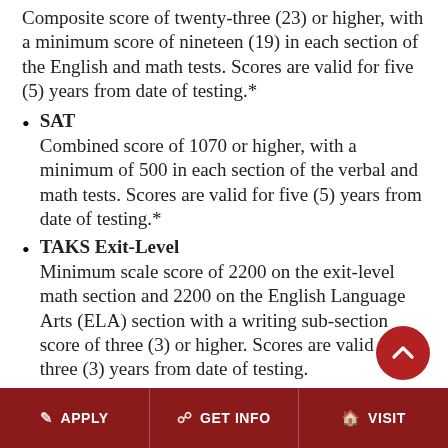Composite score of twenty-three (23) or higher, with a minimum score of nineteen (19) in each section of the English and math tests. Scores are valid for five (5) years from date of testing.*
SAT
Combined score of 1070 or higher, with a minimum of 500 in each section of the verbal and math tests. Scores are valid for five (5) years from date of testing.*
TAKS Exit-Level
Minimum scale score of 2200 on the exit-level math section and 2200 on the English Language Arts (ELA) section with a writing sub-section score of three (3) or higher. Scores are valid for three (3) years from date of testing.
Readiness Status
Met college-level readiness standards in English,
APPLY   GET INFO   VISIT